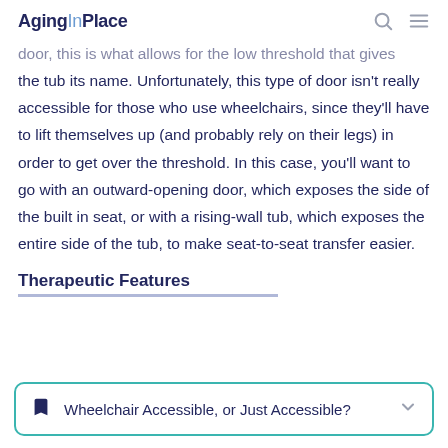AgingInPlace
door, this is what allows for the low threshold that gives the tub its name. Unfortunately, this type of door isn't really accessible for those who use wheelchairs, since they'll have to lift themselves up (and probably rely on their legs) in order to get over the threshold. In this case, you'll want to go with an outward-opening door, which exposes the side of the built in seat, or with a rising-wall tub, which exposes the entire side of the tub, to make seat-to-seat transfer easier.
Therapeutic Features
Wheelchair Accessible, or Just Accessible?